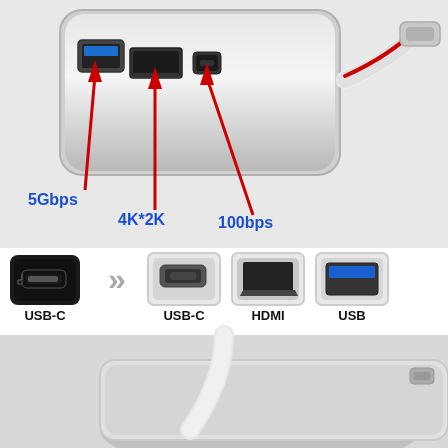[Figure (photo): Product photo of a USB-C hub adapter with annotations. Top section shows a silver aluminum USB-C hub with red arrows pointing to ports labeled '5Gbps', '4K*2K', and '100bps'. Middle section shows connector diagrams: USB-C input connector, double arrow symbol, then USB-C, HDMI, and USB output ports with labels. Bottom-left shows a gold 4K ULTRAHD badge logo. Bottom section shows the hub being used with a laptop.]